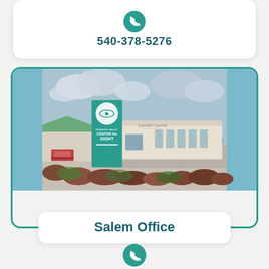540-378-5276
[Figure (photo): Exterior photo of Roanoke Valley Center for Sight building, showing a teal pylon sign with the center's logo and name, a parking lot, and the surgery center building in the background.]
Salem Office